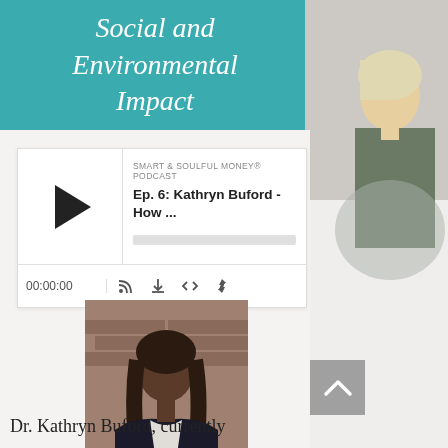Social and Environmental Impact
[Figure (screenshot): Podcast player widget showing Smart & Soulful Money Podcast, Ep. 6: Kathryn Buford - How ..., with play button, progress bar, time 00:00:00, and control icons]
[Figure (photo): Professional headshot of Dr. Kathryn Buford, a young Black woman with long curly hair, wearing a black blazer, standing in front of a brick wall]
Dr. Kathryn Buford, currently
[Figure (photo): Partial background photo of a blonde woman in a grey top standing against a white brick wall]